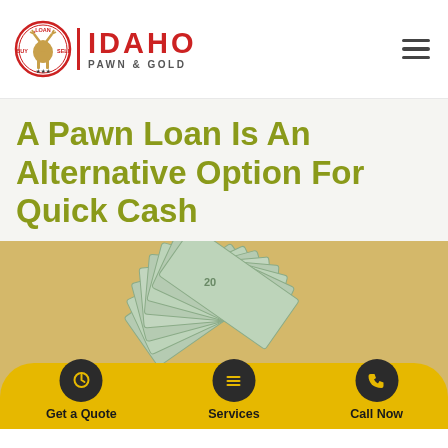[Figure (logo): Idaho Pawn & Gold logo with circular badge (LOAN BUY SELL text around a moose figure) and red IDAHO text with PAWN & GOLD subtitle]
A Pawn Loan Is An Alternative Option For Quick Cash
[Figure (photo): Fan of US dollar bills spread out over gold jewelry/coins on a white background]
[Figure (infographic): Golden CTA bar with three buttons: Get a Quote, Services, Call Now, each with dark circular icon above]